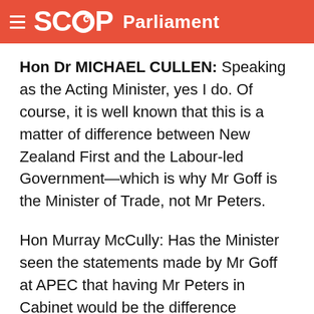SCOOP Parliament
Hon Dr MICHAEL CULLEN: Speaking as the Acting Minister, yes I do. Of course, it is well known that this is a matter of difference between New Zealand First and the Labour-led Government—which is why Mr Goff is the Minister of Trade, not Mr Peters.
Hon Murray McCully: Has the Minister seen the statements made by Mr Goff at APEC that having Mr Peters in Cabinet would be the difference between having one’s mother-in-law living in one’s house or next door, because “It’s much easier sometimes when she’s next door as you’ve each got your own space”, and can he tell the House what he takes from Mr Goff’s